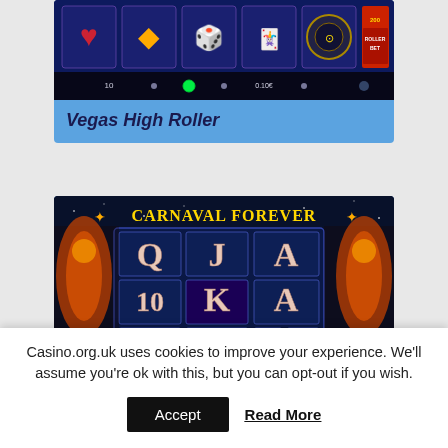[Figure (screenshot): Vegas High Roller slot game screenshot showing slot machine with heart, diamond, dice, cards, roulette wheel symbols on dark blue background with game controls at bottom]
Vegas High Roller
[Figure (screenshot): Carnaval Forever slot game screenshot showing carnival-themed slot reels with letters Q, J, A, 10, K, A, J, 10, K, Q on dark blue background with decorative carnival characters]
Casino.org.uk uses cookies to improve your experience. We'll assume you're ok with this, but you can opt-out if you wish.
Accept
Read More